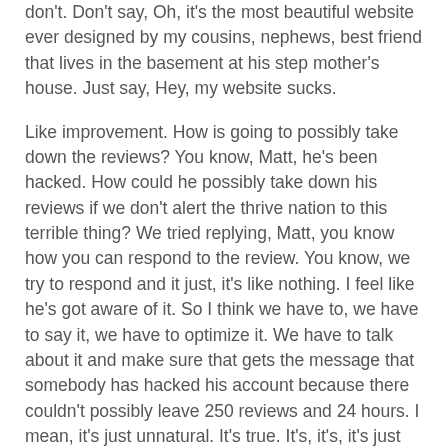don't. Don't say, Oh, it's the most beautiful website ever designed by my cousins, nephews, best friend that lives in the basement at his step mother's house. Just say, Hey, my website sucks.
Like improvement. How is going to possibly take down the reviews? You know, Matt, he's been hacked. How could he possibly take down his reviews if we don't alert the thrive nation to this terrible thing? We tried replying, Matt, you know how you can respond to the review. You know, we try to respond and it just, it's like nothing. I feel like he's got aware of it. So I think we have to, we have to say it, we have to optimize it. We have to talk about it and make sure that gets the message that somebody has hacked his account because there couldn't possibly leave 250 reviews and 24 hours. I mean, it's just unnatural. It's true. It's, it's, it's just not, yeah. It's not,
Hey, Google stuff in there and do something.
Yeah. I've reached out to the the Google guys and I think what